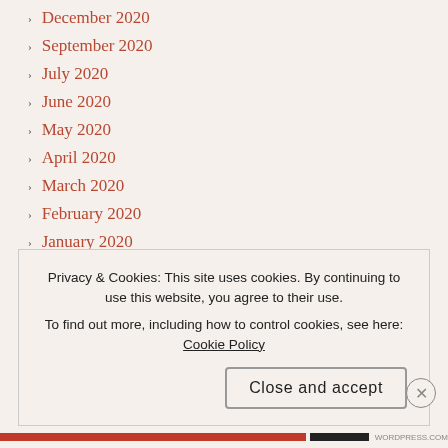December 2020
September 2020
July 2020
June 2020
May 2020
April 2020
March 2020
February 2020
January 2020
December 2019
October 2019
Privacy & Cookies: This site uses cookies. By continuing to use this website, you agree to their use.
To find out more, including how to control cookies, see here: Cookie Policy
Close and accept